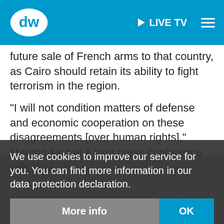[Figure (screenshot): DW (Deutsche Welle) website navigation bar with logo, LIVE TV button, and hamburger menu on blue background]
future sale of French arms to that country, as Cairo should retain its ability to fight terrorism in the region.
"I will not condition matters of defense and economic cooperation on these disagreements [over human rights]," Macron said at a joint press conference with Egyptian President Abdel Fattah el-Sissi.
"It is more effective to have a policy of demanding dialogue than a boycott which would only reduce the effectiveness of our partners in the fight against terrorism," he added.
We use cookies to improve our service for you. You can find more information in our data protection declaration.